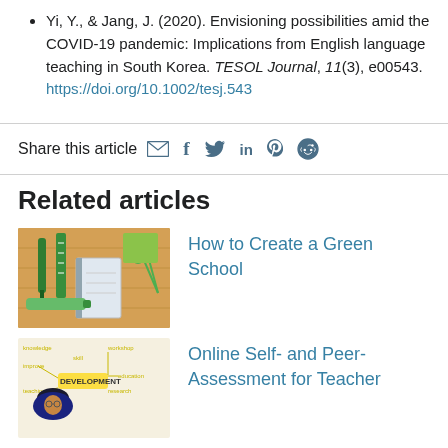Yi, Y., & Jang, J. (2020). Envisioning possibilities amid the COVID-19 pandemic: Implications from English language teaching in South Korea. TESOL Journal, 11(3), e00543. https://doi.org/10.1002/tesj.543
Share this article [icons: email, facebook, twitter, linkedin, pinterest, reddit]
Related articles
How to Create a Green School
[Figure (photo): Flat lay of green school supplies including pens, rulers, scissors, and a notebook on a wooden surface]
Online Self- and Peer-Assessment for Teacher
[Figure (photo): Person with concept map diagram about professional development in the background]